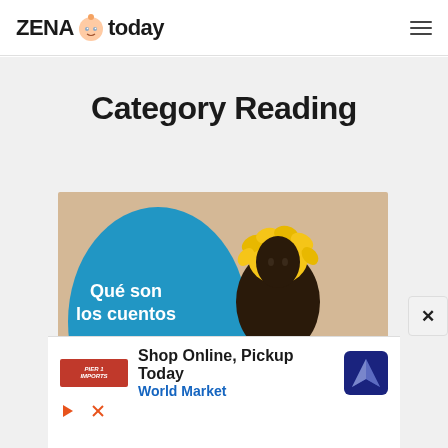ZENA today
Category Reading
[Figure (photo): Article thumbnail showing a blue oval shape with Spanish text 'Qué son los cuentos' and a person with floral decoration on their head, against a light wooden background]
[Figure (screenshot): Advertisement banner: Shop Online, Pickup Today - World Market, with World Market logo and navigation icon, plus play and dismiss controls]